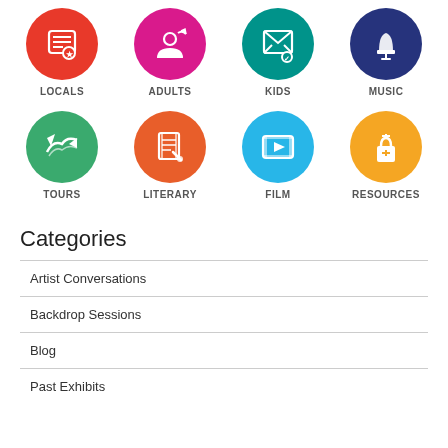[Figure (infographic): Grid of 8 colored circular icons with labels: LOCALS (red), ADULTS (pink/magenta), KIDS (teal), MUSIC (navy blue), TOURS (green), LITERARY (orange), FILM (cyan/blue), RESOURCES (orange)]
Categories
Artist Conversations
Backdrop Sessions
Blog
Past Exhibits